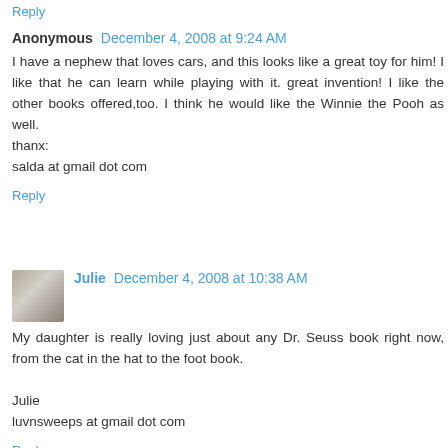Reply
Anonymous  December 4, 2008 at 9:24 AM
I have a nephew that loves cars, and this looks like a great toy for him! I like that he can learn while playing with it. great invention! I like the other books offered,too. I think he would like the Winnie the Pooh as well.
thanx:
salda at gmail dot com
Reply
Julie  December 4, 2008 at 10:38 AM
My daughter is really loving just about any Dr. Seuss book right now, from the cat in the hat to the foot book.

Julie
luvnsweeps at gmail dot com
Reply